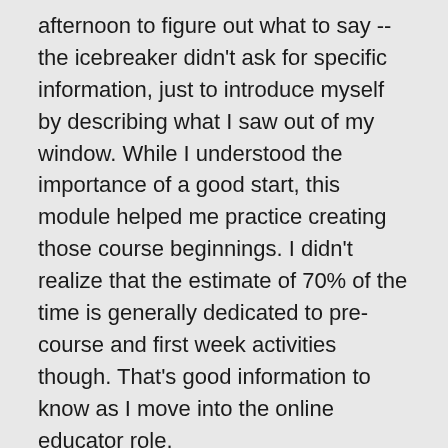afternoon to figure out what to say -- the icebreaker didn't ask for specific information, just to introduce myself by describing what I saw out of my window.  While I understood the importance of a good start, this module helped me practice creating those course beginnings.  I didn't realize that the estimate of 70% of the time is generally dedicated to pre-course and first week activities though.  That's good information to know as I move into the online educator role.
I had a number of improvements to make on this page.  My prompt didn't direct the student to try to interact with others so I added a suggestion that they contact at least 2 other students.  I gave an example of a question they might ask to find out more about each other.  My introduction set an acceptable example for the students but I added the answer to my own suggested question in